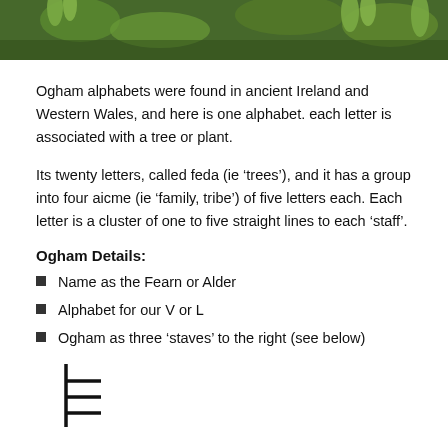[Figure (photo): Close-up photo of green plant buds and leaves with a nature/forest background.]
Ogham alphabets were found in ancient Ireland and Western Wales, and here is one alphabet. each letter is associated with a tree or plant.
Its twenty letters, called feda (ie ‘trees’), and it has a group into four aicme (ie ‘family, tribe’) of five letters each. Each letter is a cluster of one to five straight lines to each ‘staff’.
Ogham Details:
Name as the Fearn or Alder
Alphabet for our V or L
Ogham as three ‘staves’ to the right (see below)
[Figure (illustration): Ogham symbol showing a vertical staff with three horizontal lines to the right.]